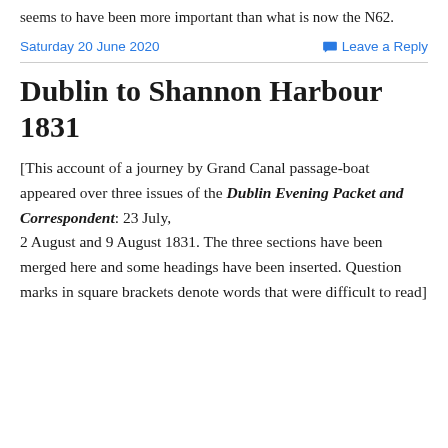seems to have been more important than what is now the N62.
Saturday 20 June 2020
Leave a Reply
Dublin to Shannon Harbour 1831
[This account of a journey by Grand Canal passage-boat appeared over three issues of the Dublin Evening Packet and Correspondent: 23 July, 2 August and 9 August 1831. The three sections have been merged here and some headings have been inserted. Question marks in square brackets denote words that were difficult to read]